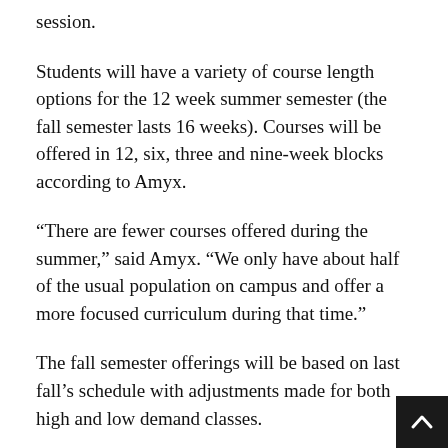session.
Students will have a variety of course length options for the 12 week summer semester (the fall semester lasts 16 weeks). Courses will be offered in 12, six, three and nine-week blocks according to Amyx.
“There are fewer courses offered during the summer,” said Amyx. “We only have about half of the usual population on campus and offer a more focused curriculum during that time.”
The fall semester offerings will be based on last fall’s schedule with adjustments made for both high and low demand classes.
Amyx explained that Sophomores get priority in their registration in order to ensure them access to high demand classes they may need for graduation. He s